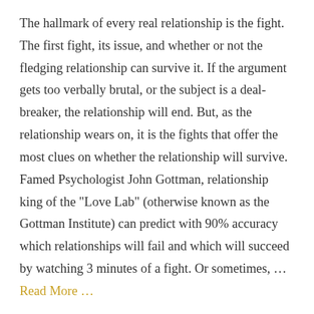The hallmark of every real relationship is the fight. The first fight, its issue, and whether or not the fledging relationship can survive it. If the argument gets too verbally brutal, or the subject is a deal-breaker, the relationship will end. But, as the relationship wears on, it is the fights that offer the most clues on whether the relationship will survive. Famed Psychologist John Gottman, relationship king of the "Love Lab" (otherwise known as the Gottman Institute) can predict with 90% accuracy which relationships will fail and which will succeed by watching 3 minutes of a fight. Or sometimes, … Read More …